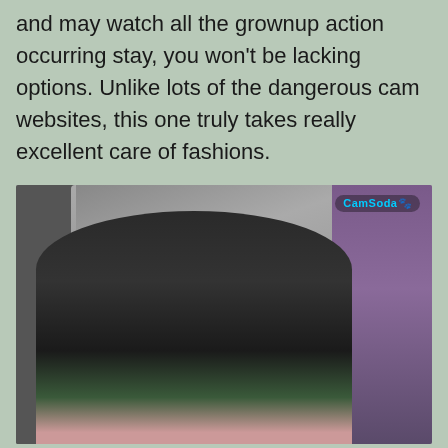and may watch all the grownup action occurring stay, you won't be lacking options. Unlike lots of the dangerous cam websites, this one truly takes really excellent care of fashions.
[Figure (photo): Webcam screenshot of a young woman with long dark hair wearing a green top, sitting on a bed with pink bedding. A headboard is visible behind her along with a nightstand on the right. A 'CamSoda' watermark appears in the top right corner.]